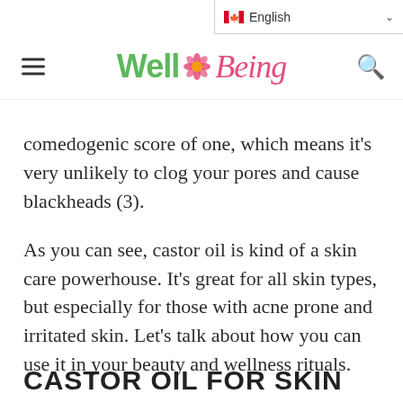Well Being — English (Canada)
comedogenic score of one, which means it's very unlikely to clog your pores and cause blackheads (3).
As you can see, castor oil is kind of a skin care powerhouse. It's great for all skin types, but especially for those with acne prone and irritated skin. Let's talk about how you can use it in your beauty and wellness rituals.
CASTOR OIL FOR SKIN